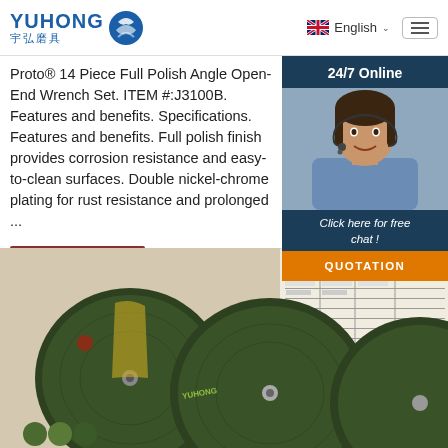YUHONG 宇弘磨具 | English | Menu
Proto® 14 Piece Full Polish Angle Open-End Wrench Set. ITEM #:J3100B. Features and benefits. Specifications. Features and benefits. Full polish finish provides corrosion resistance and easy-to-clean surfaces. Double nickel-chrome plating for rust resistance and prolonged ...
[Figure (screenshot): 24/7 Online chat overlay with customer service representative photo and QUOTATION button]
[Figure (photo): Product photo showing green grinding/cutting discs with product specification sheet in background]